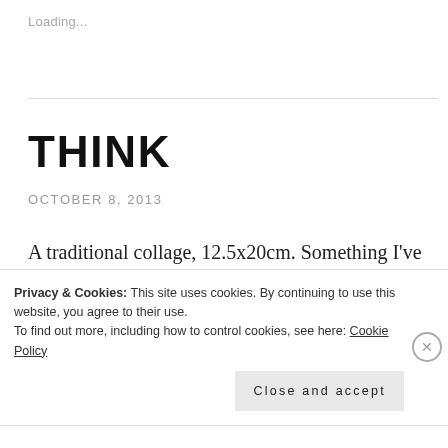Loading...
THINK
OCTOBER 8, 2013
A traditional collage, 12.5x20cm. Something I've been working on recently.
Privacy & Cookies: This site uses cookies. By continuing to use this website, you agree to their use.
To find out more, including how to control cookies, see here: Cookie Policy
Close and accept